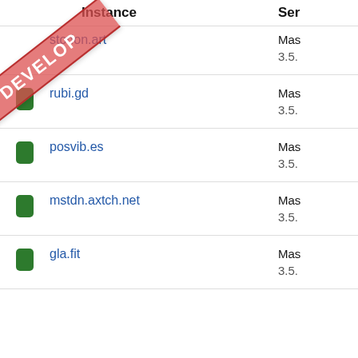| Instance | Ser... |
| --- | --- |
| mastodon.art | Mas... 3.5... |
| rubi.gd | Mas... 3.5... |
| posvib.es | Mas... 3.5... |
| mstdn.axtch.net | Mas... 3.5... |
| gla.fit | Mas... 3.5... |